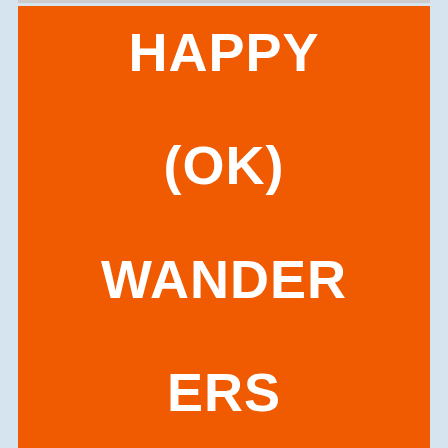[Figure (illustration): Orange rectangle banner with white bold text reading 'HAPPY (OK) WANDERERS HISTORY' stacked on multiple lines, with a pink circular scroll-to-top button in the bottom right corner.]
An organizational meeting was hosted on February 21